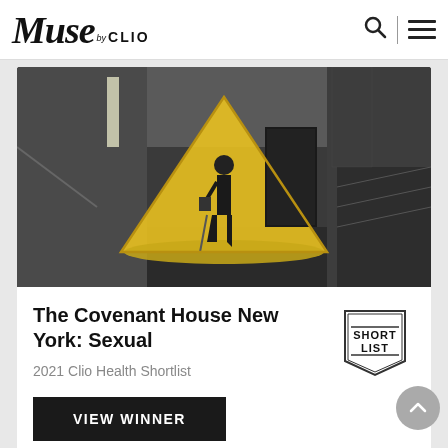Muse by CLIO
[Figure (photo): Black and white photo of a person standing in what appears to be a subway or building corridor, with a bright yellow triangular shape highlighted behind them. The scene is mostly greyscale except for the yellow accent.]
The Covenant House New York: Sexual
[Figure (other): Short List badge/seal with text SHORT LIST inside a shield shape]
2021 Clio Health Shortlist
VIEW WINNER